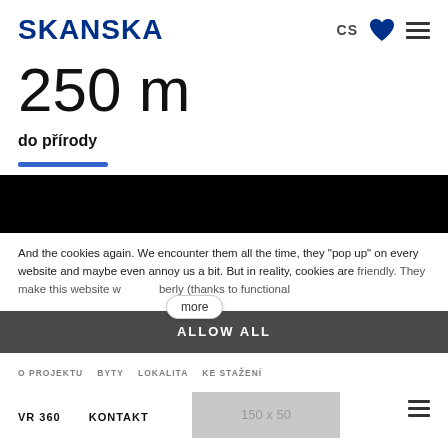SKANSKA CS [heart icon] [menu icon]
250 m
do přírody
[Figure (other): Blue horizontal bar separator]
[Figure (other): Black banner section]
And the cookies again. We encounter them all the time, they "pop up" on every website and maybe even annoy us a bit. But in reality, cookies are friendly. They make this website w...berly (thanks to functional
more
ALLOW ALL
O PROJEKTU   BYTY   LOKALITA   KE STAŽENÍ
VR 360   KONTAKT
[Figure (other): 150 x 50 advertisement placeholder]